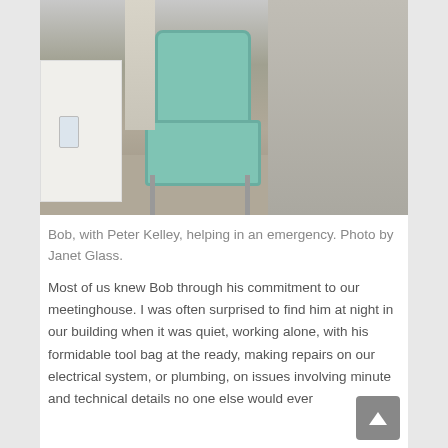[Figure (photo): A photo showing a green chair with tools (flashlight and other items) resting on it, a white table to the left with a glass on it, and a person standing in grey trousers and brown shoes on the right side. The floor is carpeted. Photo is of Bob and Peter Kelley helping in an emergency.]
Bob, with Peter Kelley, helping in an emergency. Photo by Janet Glass.
Most of us knew Bob through his commitment to our meetinghouse. I was often surprised to find him at night in our building when it was quiet, working alone, with his formidable tool bag at the ready, making repairs on our electrical system, or plumbing, on issues involving minute and technical details no one else would ever